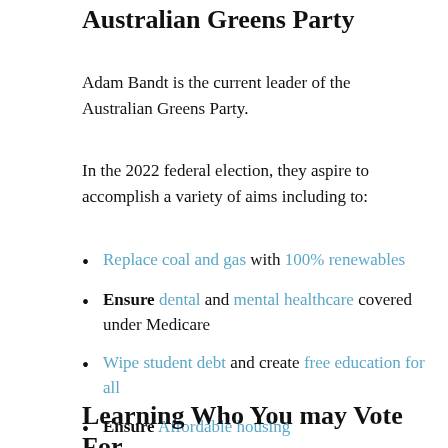Australian Greens Party
Adam Bandt is the current leader of the Australian Greens Party.
In the 2022 federal election, they aspire to accomplish a variety of aims including to:
Replace coal and gas with 100% renewables
Ensure dental and mental healthcare covered under Medicare
Wipe student debt and create free education for all
Ensure Affordable housing
Learning Who You may Vote For